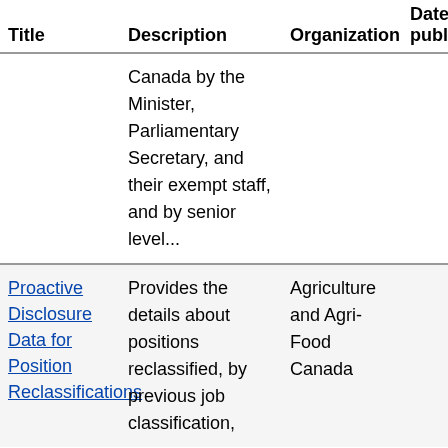| Title | Description | Organization | Date published |
| --- | --- | --- | --- |
|  | Canada by the Minister, Parliamentary Secretary, and their exempt staff, and by senior level... |  |  |
| Proactive Disclosure Data for Position Reclassifications | Provides the details about positions reclassified, by previous job classification, | Agriculture and Agri-Food Canada |  |